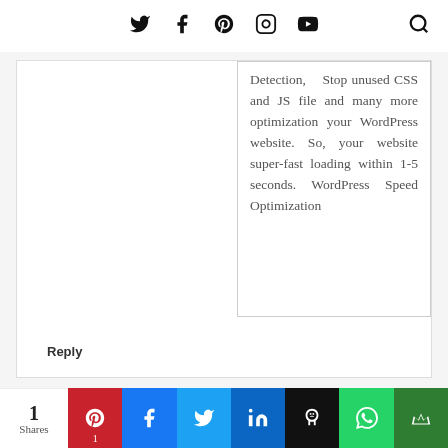Social media navigation icons (Twitter, Facebook, Pinterest, Instagram, YouTube) and search icon
Detection, Stop unused CSS and JS file and many more optimization your WordPress website. So, your website super-fast loading within 1-5 seconds. WordPress Speed Optimization
Reply
1 Shares — Pinterest, Facebook, Twitter, LinkedIn, Hootsuite, WhatsApp, Crown share buttons